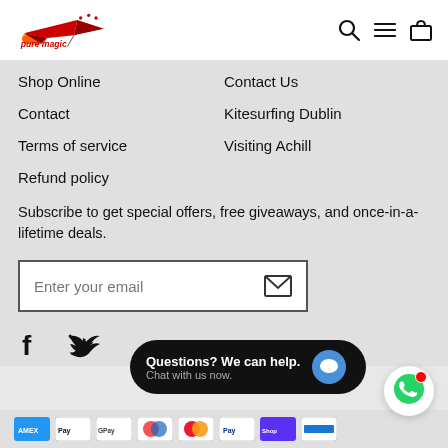Pure Magic Watersports logo with search, menu, and cart icons
Shop Online
Contact Us
Contact
Kitesurfing Dublin
Terms of service
Visiting Achill
Refund policy
Subscribe to get special offers, free giveaways, and once-in-a-lifetime deals.
Enter your email
[Figure (other): Facebook and Twitter social icons]
Questions? We can help. Chat with us now.
[Figure (other): Payment method icons: American Express, Apple Pay, Google Pay, Maestro, Mastercard, PayPal, Shop Pay, and another card]